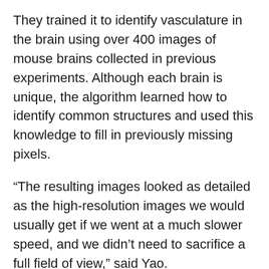They trained it to identify vasculature in the brain using over 400 images of mouse brains collected in previous experiments. Although each brain is unique, the algorithm learned how to identify common structures and used this knowledge to fill in previously missing pixels.
“The resulting images looked as detailed as the high-resolution images we would usually get if we went at a much slower speed, and we didn’t need to sacrifice a full field of view,” said Yao.
As a proof of concept, the team used UFF-PAM to visualize how blood vessels in a mouse brain responded to hypoxia, drug-induced hypotension and ischemic